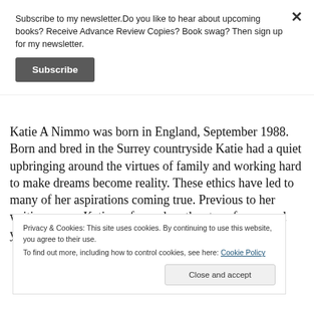Subscribe to my newsletter.Do you like to hear about upcoming books? Receive Advance Review Copies? Book swag? Then sign up for my newsletter.
Subscribe
Katie A Nimmo was born in England, September 1988. Born and bred in the Surrey countryside Katie had a quiet upbringing around the virtues of family and working hard to make dreams become reality. These ethics have led to many of her aspirations coming true. Previous to her writing career Katie performed on the stage for several years contrary to the
Privacy & Cookies: This site uses cookies. By continuing to use this website, you agree to their use.
To find out more, including how to control cookies, see here: Cookie Policy
Close and accept